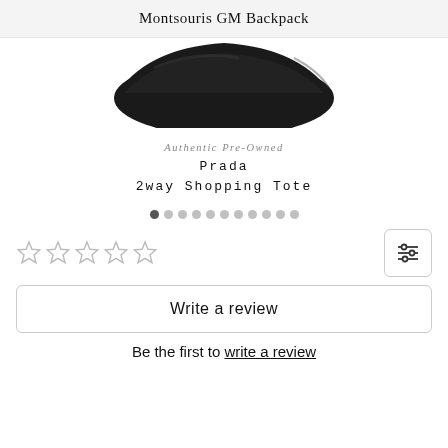Montsouris GM Backpack
[Figure (photo): Partial view of a black leather luxury handbag/tote against white background]
Authentic Pre-Owned
Prada
2way Shopping Tote
[Figure (other): Carousel dot indicators, 11 dots with first dot active]
[Figure (other): 5 empty star rating icons]
[Figure (other): Filter/sort button with horizontal sliders icon]
Write a review
Be the first to write a review